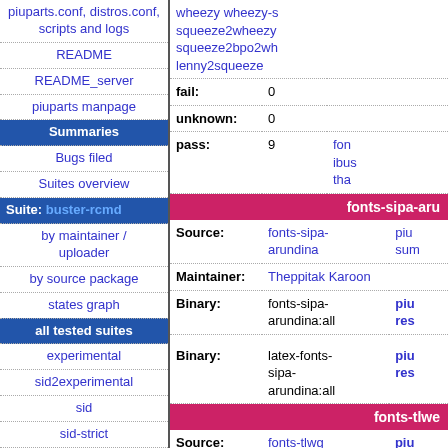| Navigation Links |
| --- |
| piuparts.conf, distros.conf, scripts and logs |
| README |
| README_server |
| piuparts manpage |
| Summaries |
| Bugs filed |
| Suites overview |
| Suite: buster-rcmd |
| by maintainer / uploader |
| by source package |
| states graph |
| all tested suites |
| experimental |
| sid2experimental |
| sid |
| sid-strict |
| Property | Value | Link |
| --- | --- | --- |
|  | wheezy wheezy-s squeeze2wheezy squeeze2bpo2wh lenny2squeeze |  |
| fail: | 0 |  |
| unknown: | 0 |  |
| pass: | 9 | fon ibus tha |
| fonts-sipa-aru |  |  |
| Source: | fonts-sipa-arundina | piu sum |
| Maintainer: | Theppitak Karoon |  |
| Binary: | fonts-sipa-arundina:all | piu res |
| Binary: | latex-fonts-sipa-arundina:all | piu res |
| fonts-tlwe |  |  |
| Source: | fonts-tlwg | piu |